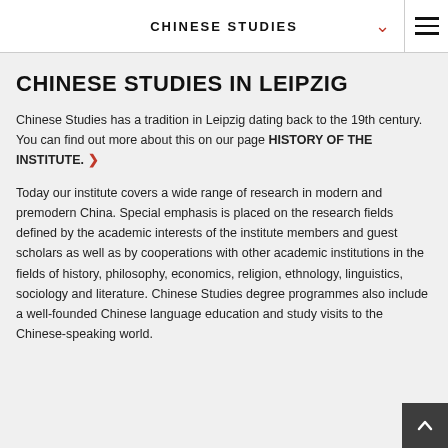CHINESE STUDIES
CHINESE STUDIES IN LEIPZIG
Chinese Studies has a tradition in Leipzig dating back to the 19th century. You can find out more about this on our page HISTORY OF THE INSTITUTE. ›
Today our institute covers a wide range of research in modern and premodern China. Special emphasis is placed on the research fields defined by the academic interests of the institute members and guest scholars as well as by cooperations with other academic institutions in the fields of history, philosophy, economics, religion, ethnology, linguistics, sociology and literature. Chinese Studies degree programmes also include a well-founded Chinese language education and study visits to the Chinese-speaking world.